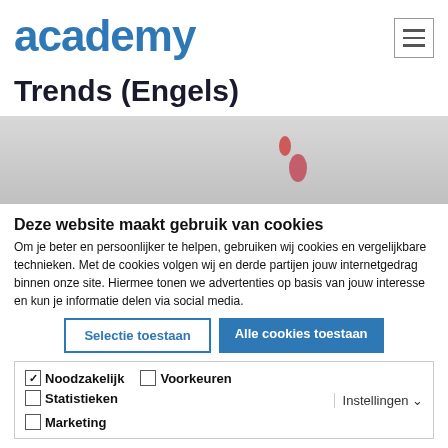academy
Trends (Engels)
[Figure (photo): Hero image with light grey background showing partial view of a page with small decorative round shapes in pinkish/red color]
Deze website maakt gebruik van cookies
Om je beter en persoonlijker te helpen, gebruiken wij cookies en vergelijkbare technieken. Met de cookies volgen wij en derde partijen jouw internetgedrag binnen onze site. Hiermee tonen we advertenties op basis van jouw interesse en kun je informatie delen via social media.
Selectie toestaan | Alle cookies toestaan
Noodzakelijk  Voorkeuren  Statistieken  Marketing  Instellingen